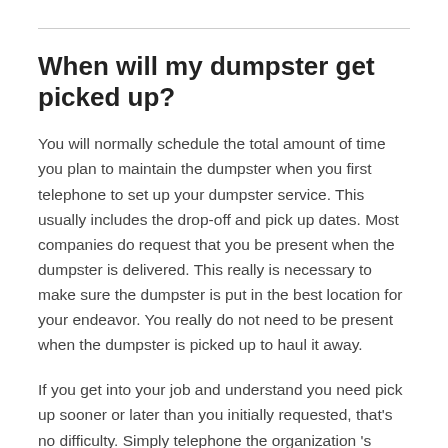When will my dumpster get picked up?
You will normally schedule the total amount of time you plan to maintain the dumpster when you first telephone to set up your dumpster service. This usually includes the drop-off and pick up dates. Most companies do request that you be present when the dumpster is delivered. This really is necessary to make sure the dumpster is put in the best location for your endeavor. You really do not need to be present when the dumpster is picked up to haul it away.
If you get into your job and understand you need pick up sooner or later than you initially requested, that's no difficulty. Simply telephone the organization 's office and clarify exactly what you need, and they will do everything they can to accommodate your request. There might be times they can't match your adjusted